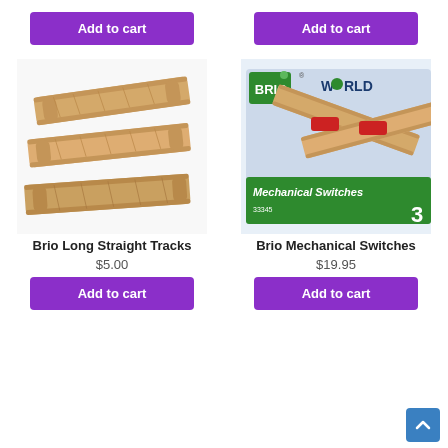[Figure (photo): Purple 'Add to cart' button at top left]
[Figure (photo): Purple 'Add to cart' button at top right]
[Figure (photo): Photo of Brio Long Straight Tracks - wooden train track pieces]
[Figure (photo): Photo of Brio Mechanical Switches box - BRIO WORLD branded, showing wooden track switches with red mechanical parts]
Brio Long Straight Tracks
$5.00
[Figure (photo): Purple 'Add to cart' button at bottom left]
Brio Mechanical Switches
$19.95
[Figure (photo): Purple 'Add to cart' button at bottom right]
[Figure (photo): Blue scroll-to-top button with up arrow chevron at bottom right corner]